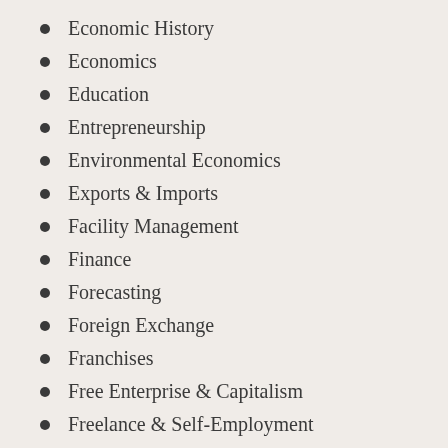Economic History
Economics
Education
Entrepreneurship
Environmental Economics
Exports & Imports
Facility Management
Finance
Forecasting
Foreign Exchange
Franchises
Free Enterprise & Capitalism
Freelance & Self-Employment
Globalization
Government & Business
Green Business